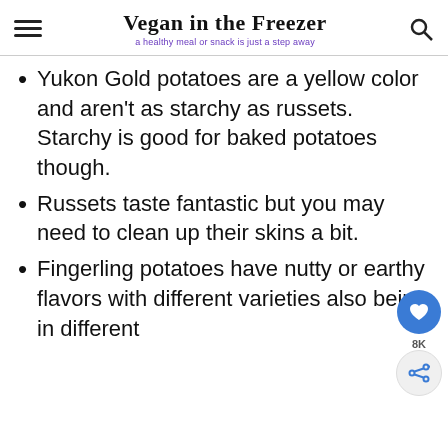Vegan in the Freezer — a healthy meal or snack is just a step away
Yukon Gold potatoes are a yellow color and aren't as starchy as russets. Starchy is good for baked potatoes though.
Russets taste fantastic but you may need to clean up their skins a bit.
Fingerling potatoes have nutty or earthy flavors with different varieties also being in different